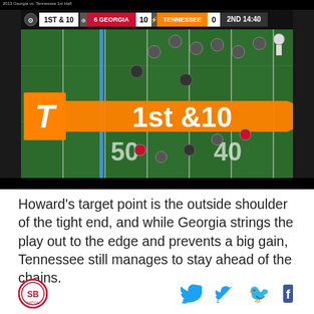[Figure (screenshot): Football game broadcast screenshot showing Georgia vs Tennessee 1st half. Scorebar shows 1ST & 10, #6 GEORGIA 10, TENNESSEE 0, 2ND 14:40. Field shows players near the 50-yard line with a blue first-down line. Tennessee's 1st & 10 down-and-distance graphic in orange is visible on the field.]
Howard’s target point is the outside shoulder of the tight end, and while Georgia strings the play out to the edge and prevents a big gain, Tennessee still manages to stay ahead of the chains.